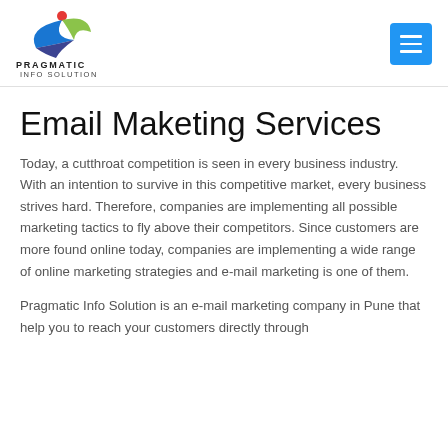[Figure (logo): Pragmatic Info Solution logo with stylized figure in blue and green with red dot, and company name text below]
Email Maketing Services
Today, a cutthroat competition is seen in every business industry. With an intention to survive in this competitive market, every business strives hard. Therefore, companies are implementing all possible marketing tactics to fly above their competitors. Since customers are more found online today, companies are implementing a wide range of online marketing strategies and e-mail marketing is one of them.
Pragmatic Info Solution is an e-mail marketing company in Pune that help you to reach your customers directly through